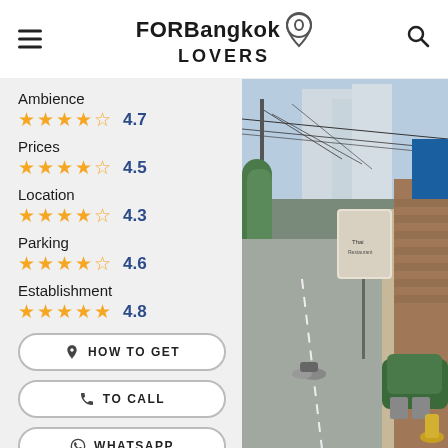FORBangkok LOVERS
Ambience  ★★★★☆  4.7
Prices  ★★★★☆  4.5
Location  ★★★★☆  4.3
Parking  ★★★★☆  4.6
Establishment  ★★★★★  4.8
[Figure (photo): Street scene in Bangkok showing a narrow lane with overhead power cables, a motorcycle rider, brick wall with signage for Thai restaurant, plants in pots, and a golden statue]
HOW TO GET
TO CALL
WHATSAPP